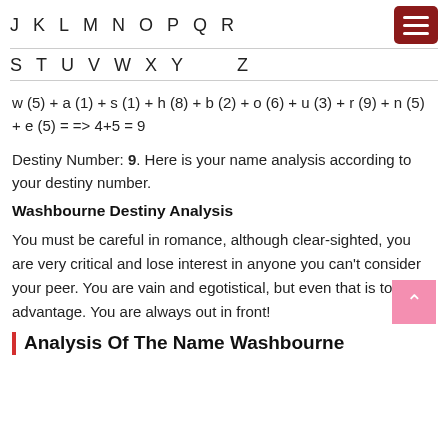J  K  L  M  N  O  P  Q  R
S  T  U  V  W  X  Y  Z
Destiny Number: 9. Here is your name analysis according to your destiny number.
Washbourne Destiny Analysis
You must be careful in romance, although clear-sighted, you are very critical and lose interest in anyone you can't consider your peer. You are vain and egotistical, but even that is to your advantage. You are always out in front!
Analysis Of The Name Washbourne